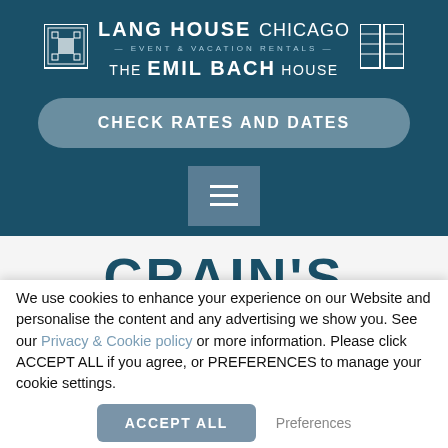[Figure (logo): Lang House Chicago Event & Vacation Rentals - The Emil Bach House logo with decorative tile icons on left and right]
CHECK RATES AND DATES
[Figure (other): Hamburger menu button icon with three horizontal lines]
CRAIN'S
We use cookies to enhance your experience on our Website and personalise the content and any advertising we show you. See our Privacy & Cookie policy or more information. Please click ACCEPT ALL if you agree, or PREFERENCES to manage your cookie settings.
ACCEPT ALL
Preferences